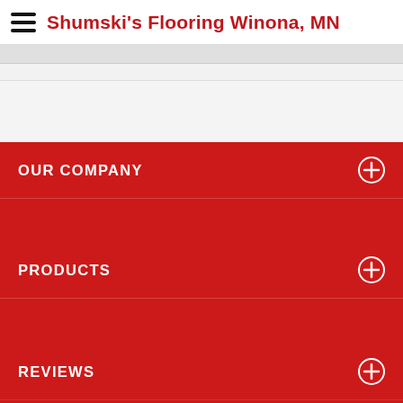Shumski's Flooring Winona, MN
OUR COMPANY
PRODUCTS
REVIEWS
[Figure (logo): Platinum badge/seal with a blue figure icon and five stars at the bottom]